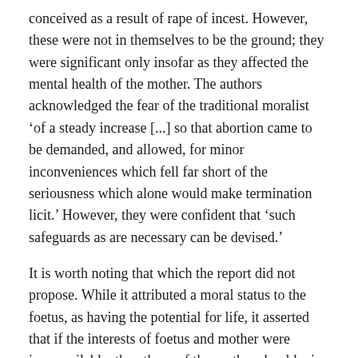conceived as a result of rape of incest. However, these were not in themselves to be the ground; they were significant only insofar as they affected the mental health of the mother. The authors acknowledged the fear of the traditional moralist ‘of a steady increase [...] so that abortion came to be demanded, and allowed, for minor inconveniences which fell far short of the seriousness which alone would make termination licit.’ However, they were confident that ‘such safeguards as are necessary can be devised.’
It is worth noting that which the report did not propose. While it attributed a moral status to the foetus, as having the potential for life, it asserted that if the interests of foetus and mother were irreconcilable, then those of the mother should win out. In this, it was close to the present law as it was customarily read off from the Bourne case.